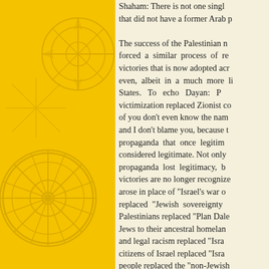[Figure (illustration): Golden yellow background with faint watermark illustration of compass rose and wagon wheel design]
Shaham: There is not one single [Israeli town] that did not have a former Arab population.

The success of the Palestinian narrative forced a similar process of revising victories that is now adopted across the board even, albeit in a much more limited way, in the United States. To echo Dayan: Palestinian victimization replaced Zionist conquest. Many of you don't even know the names of the villages, and I don't blame you, because the Zionist propaganda that once legitimized them is no longer considered legitimate. Not only did the Zionist propaganda lost legitimacy, but the Zionist victories are no longer recognized. "Nakba" arose in place of "Israel's war of independence," replaced "Jewish sovereignty" replaced "Palestinian" replaced "Plan Dalet," replaced "the return of Jews to their ancestral homeland," "apartheid" and legal racism replaced "Israel's democracy," citizens of Israel replaced "Israel's Arab citizens," people replaced the "non-Jewish minority," as the Balfour Declaration has replaced Palestinian maftul replaced continues to try to replace Palestinian one single Zionist victory in this